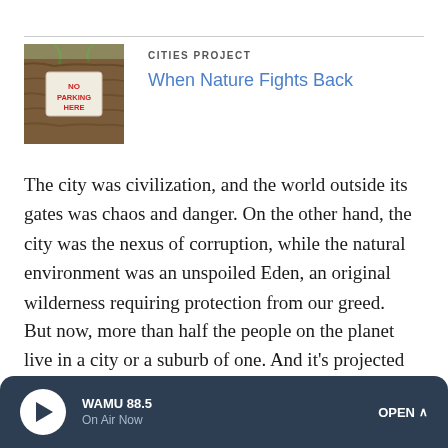[Figure (photo): Photo of a tree trunk with a 'No Parking Here' sign embedded/growing into the bark]
CITIES PROJECT
When Nature Fights Back
The city was civilization, and the world outside its gates was chaos and danger. On the other hand, the city was the nexus of corruption, while the natural environment was an unspoiled Eden, an original wilderness requiring protection from our greed.
But now, more than half the people on the planet live in a city or a suburb of one. And it's projected that by 2050, more than 80 percent of all human beings will be living in urban
WAMU 88.5
On Air Now
OPEN ^